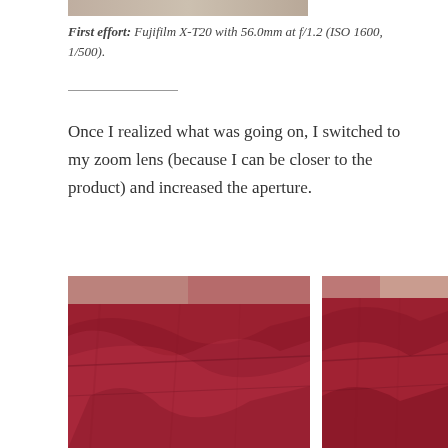[Figure (photo): Top portion of a cropped photo showing fabric, partially visible at the very top of the page]
First effort: Fujifilm X-T20 with 56.0mm at f/1.2 (ISO 1600, 1/500).
Once I realized what was going on, I switched to my zoom lens (because I can be closer to the product) and increased the aperture.
[Figure (photo): Two side-by-side close-up photographs of a red/crimson fabric scarf, showing texture and folds. Left image shows the scarf against a white background, right image is a tighter crop showing more detail of the red fabric.]